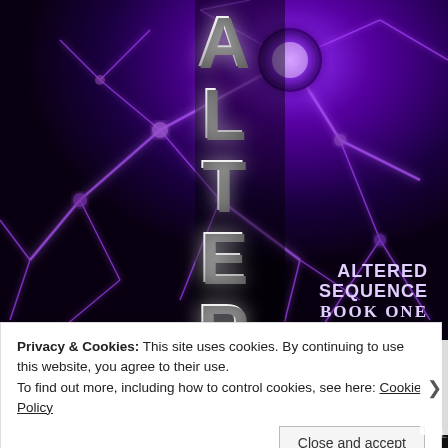[Figure (illustration): Book cover for 'Altered Sequence Book One' showing a dark purple background with glowing neural/neuron imagery. Vertical large white letters spelling 'ALTERED' run down the center. Bottom right shows 'ALTERED SEQUENCE BOOK ONE' in white bold text.]
Privacy & Cookies: This site uses cookies. By continuing to use this website, you agree to their use.
To find out more, including how to control cookies, see here: Cookie Policy
Close and accept